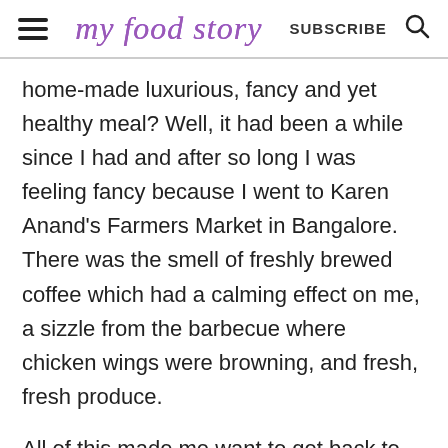my food story | SUBSCRIBE
home-made luxurious, fancy and yet healthy meal? Well, it had been a while since I had and after so long I was feeling fancy because I went to Karen Anand's Farmers Market in Bangalore. There was the smell of freshly brewed coffee which had a calming effect on me, a sizzle from the barbecue where chicken wings were browning, and fresh, fresh produce.
All of this made me want to get back to my kitchen and cook something for myself that I'd enjoy. So, I picked up a pack of green Heirloom